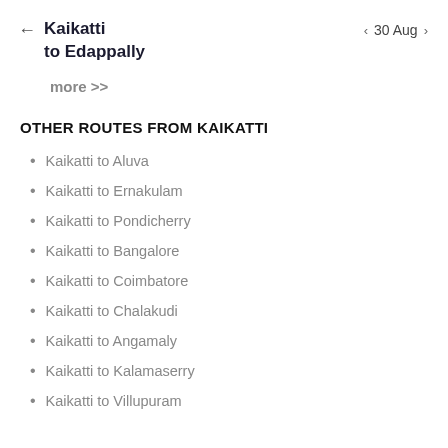Kaikatti to Edappally | 30 Aug
more >>
OTHER ROUTES FROM KAIKATTI
Kaikatti to Aluva
Kaikatti to Ernakulam
Kaikatti to Pondicherry
Kaikatti to Bangalore
Kaikatti to Coimbatore
Kaikatti to Chalakudi
Kaikatti to Angamaly
Kaikatti to Kalamaserry
Kaikatti to Villupuram